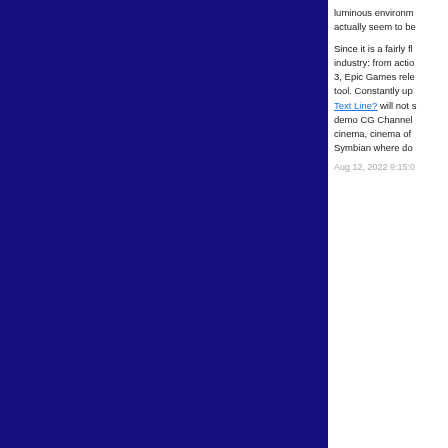luminous environm... actually seem to be...
Since it is a fairly fl... industry: from actio... 3, Epic Games rele... tool. Constantly up... Text Line? will not s... demo CG Channel... cinema, cinema of... Symbian where do...
Aug 12, 2022 9:15:0...
Com...
Sprengel ...
Cybercriminals use... Holzwickede, may ... and mastermind of...